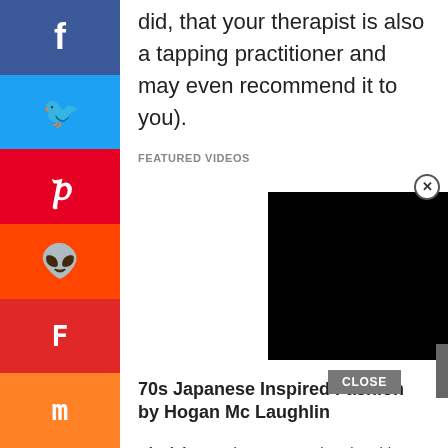did, that your therapist is also a tapping practitioner and may even recommend it to you).
FEATURED VIDEOS
[Figure (screenshot): Embedded video player showing a black screen, with an X close button in the top right corner and a CLOSE button overlay, and a chevron up arrow box]
70s Japanese Inspired Fashion by Hogan Mc Laughlin
Disclaimer: Please remember that this post is